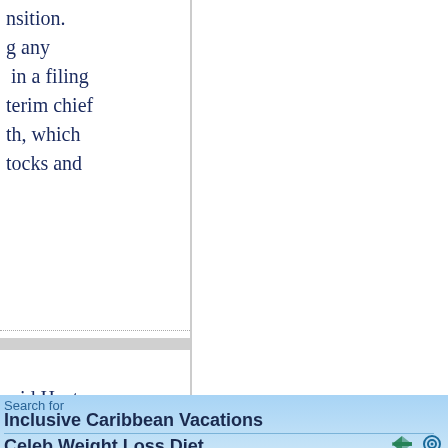nsition.
g any
 in a filing
terim chief
th, which
tocks and
aid Host
ensive.
United
y. Also, the
o primarily
the
ith strong
Search for
Inclusive Caribbean Vacations
Celeb Weight Loss Diet